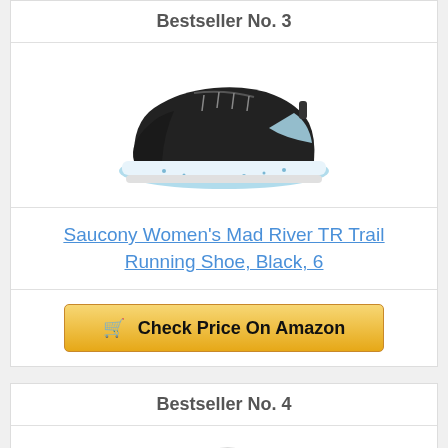Bestseller No. 3
[Figure (photo): Saucony Women's Mad River TR Trail Running Shoe in black with light blue speckled sole, viewed from the side]
Saucony Women's Mad River TR Trail Running Shoe, Black, 6
Check Price On Amazon
Bestseller No. 4
[Figure (photo): Gray and orange trail running shoe, partially visible at bottom of page, viewed from the side]